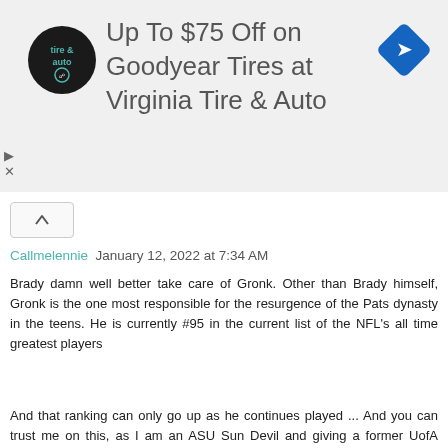[Figure (other): Advertisement banner: Virginia Tire & Auto logo (circular black badge with 'tire & auto' text), headline 'Up To $75 Off on Goodyear Tires at Virginia Tire & Auto', and a blue diamond navigation icon on the right. Ad controls (play and close) on the left side.]
Callmelennie  January 12, 2022 at 7:34 AM
Brady damn well better take care of Gronk. Other than Brady himself, Gronk is the one most responsible for the resurgence of the Pats dynasty in the teens. He is currently #95 in the current list of the NFL's all time greatest players
And that ranking can only go up as he continues played ... And you can trust me on this, as I am an ASU Sun Devil and giving a former UofA Wildcat his due is as painful for me as drinking raw sewage laced with battery acid
Reply
▸ Replies
Schløngtaviøus Lärdmåster  January 12, 2022